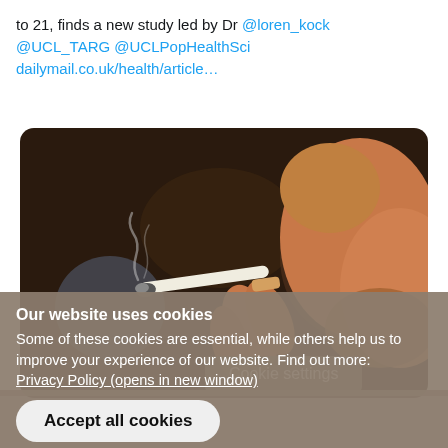to 21, finds a new study led by Dr @loren_kock @UCL_TARG @UCLPopHealthSci dailymail.co.uk/health/article…
[Figure (photo): Close-up photo of a person smoking a cigarette, holding it between fingers, with smoke rising from the lit end. Dark blurred background.]
Cookie settings
Our website uses cookies
Some of these cookies are essential, while others help us to improve your experience of our website. Find out more: Privacy Policy (opens in new window)
Accept all cookies
Manage cookies